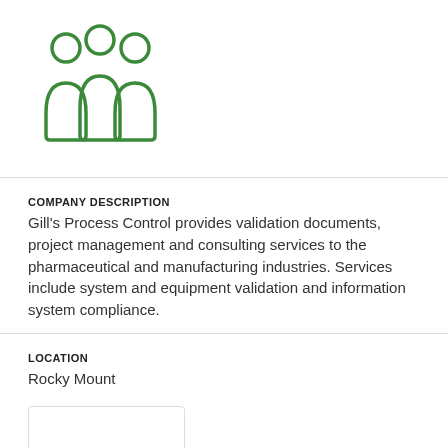[Figure (logo): Three people silhouette icon in green outline style]
COMPANY DESCRIPTION
Gill's Process Control provides validation documents, project management and consulting services to the pharmaceutical and manufacturing industries. Services include system and equipment validation and information system compliance.
LOCATION
Rocky Mount
[Figure (logo): North Carolina state map shape logo in grey, inside a rounded-corner box]
COMPANY
IMAF Coastal Plain LLC